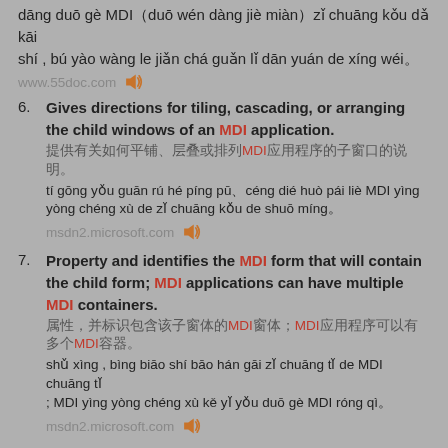dāng duō gè MDI（duō wén dàng jiè miàn）zǐ chuāng kǒu dǎ kāi shí , bú yào wàng le jiǎn chá guǎn lǐ dān yuán de xíng wéi。
www.55doc.com 🔊
6. Gives directions for tiling, cascading, or arranging the child windows of an MDI application.
提供有关如何平铺、层叠或排列MDI应用程序的子窗口的说明。
tí gōng yǒu guān rú hé píng pū、céng dié huò pái liè MDI yìng yòng chéng xù de zǐ chuāng kǒu de shuō míng。
msdn2.microsoft.com 🔊
7. Property and identifies the MDI form that will contain the child form; MDI applications can have multiple MDI containers.
属性，并标识包含该子窗体的MDI窗体；MDI应用程序可以有多个MDI容器。
shǔ xìng , bìng biāo shí bāo hán gāi zǐ chuāng tǐ de MDI chuāng tǐ ; MDI yìng yòng chéng xù kě yǐ yǒu duō gè MDI róng qì。
msdn2.microsoft.com 🔊
8. Property on a child form identifies it as a child of the MDI form; an MDI application can have only one MDI form.
子窗体上的MDI属性将其标识为MDI窗体的子级；MDI应用程序只能有一个MDI窗体。
shǔ xìng kě jiāng tā biāo shí wèi MDI chuāng tǐ de zǐ jí ; MDI yìng